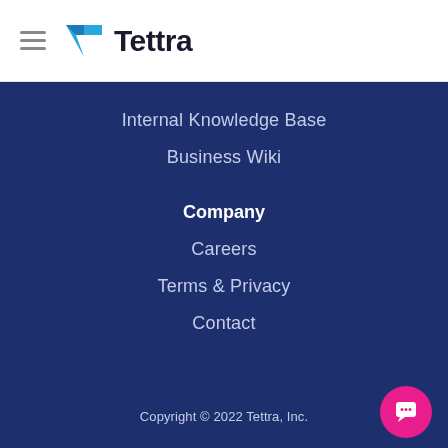[Figure (logo): Tettra logo with hamburger menu icon. Logo shows a blue T-shaped bird/arrow icon followed by bold text 'Tettra']
Internal Knowledge Base
Business Wiki
Company
Careers
Terms & Privacy
Contact
Copyright © 2022 Tettra, Inc.